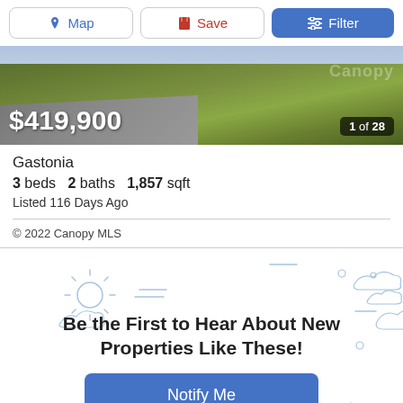[Figure (screenshot): Top navigation bar with Map, Save, and Filter buttons]
[Figure (photo): Aerial/street view photo of property with grass and road, showing price $419,900 and image counter 1 of 28]
Gastonia
3 beds  2 baths  1,857 sqft
Listed 116 Days Ago
© 2022 Canopy MLS
Be the First to Hear About New Properties Like These!
[Figure (illustration): Light blue decorative weather icon illustrations (sun, clouds, rain) on white background behind promo text]
Notify Me